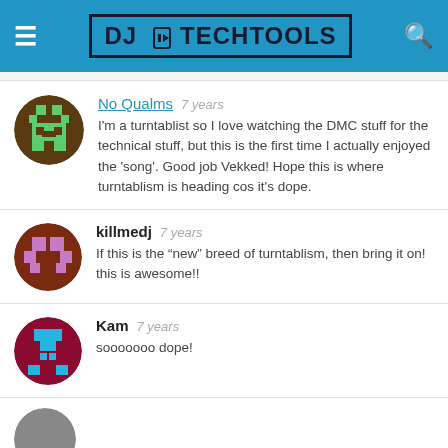DJ TechTools
No Qualms  7 years
I'm a turntablist so I love watching the DMC stuff for the technical stuff, but this is the first time I actually enjoyed the 'song'. Good job Vekked! Hope this is where turntablism is heading cos it's dope.
killmedj  7 years
If this is the "new" breed of turntablism, then bring it on! this is awesome!!
Kam  7 years
sooooooo dope!